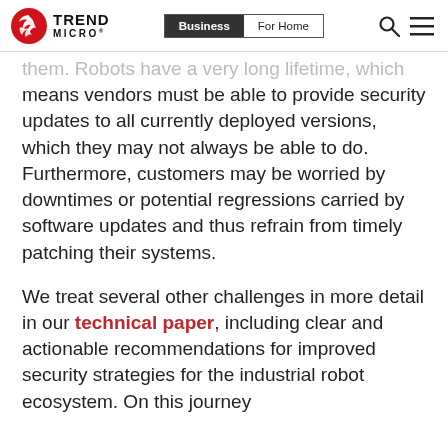Trend Micro — Business | For Home
them. Robots have a very long lifetime, which means vendors must be able to provide security updates to all currently deployed versions, which they may not always be able to do. Furthermore, customers may be worried by downtimes or potential regressions carried by software updates and thus refrain from timely patching their systems.
We treat several other challenges in more detail in our technical paper, including clear and actionable recommendations for improved security strategies for the industrial robot ecosystem. On this journey